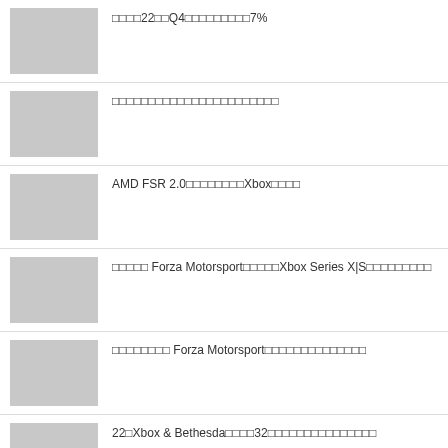□□□□22□□Q4□□□□□□□□□□7%
□□□□□□□□□□□□□□□□□□□□□□□□
AMD FSR 2.0□□□□□□□□□Xbox□□□□
□□□□□ Forza Motorsport□□□□□□Xbox Series X|S□□□□□□□□□
□□□□□□□□ Forza Motorsport□□□□□□□□□□□□□□□□
22□Xbox & Bethesda□□□□32□□□□□□□□□□□□□□□□□□